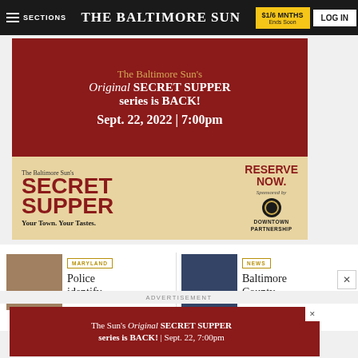SECTIONS | THE BALTIMORE SUN | $1/6 MNTHS Ends Soon | LOG IN
[Figure (advertisement): Baltimore Sun Secret Supper advertisement - top red section with text: The Baltimore Sun's Original SECRET SUPPER series is BACK! Sept. 22, 2022 | 7:00pm. Bottom cream section with SECRET SUPPER logo, Your Town. Your Tastes. tagline, RESERVE NOW. Sponsored by Downtown Partnership logo.]
MARYLAND
Police identify
NEWS
Baltimore County
ADVERTISEMENT
[Figure (advertisement): Bottom banner ad: The Sun's Original SECRET SUPPER series is BACK! | Sept. 22, 7:00pm]